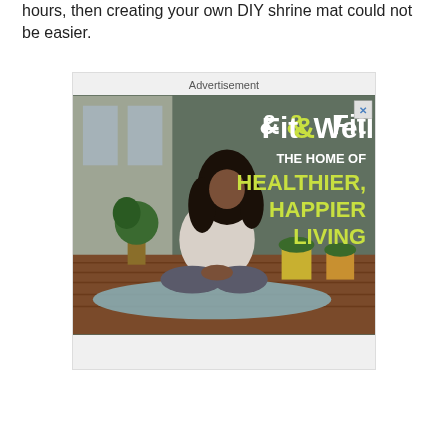hours, then creating your own DIY shrine mat could not be easier.
[Figure (advertisement): Fit&Well advertisement showing a woman meditating in lotus position on a yoga mat on a wooden deck with plants in the background. Text overlay reads 'Fit&Well THE HOME OF HEALTHIER, HAPPIER LIVING']